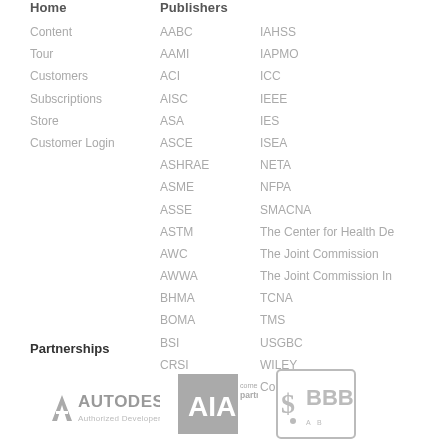Home
Content
Tour
Customers
Subscriptions
Store
Customer Login
Publishers
AABC
AAMI
ACI
AISC
ASA
ASCE
ASHRAE
ASME
ASSE
ASTM
AWC
AWWA
BHMA
BOMA
BSI
CRSI
IAHSS
IAPMO
ICC
IEEE
IES
ISEA
NETA
NFPA
SMACNA
The Center for Health De
The Joint Commission
The Joint Commission In
TCNA
TMS
USGBC
WILEY
Combo Packages
Partnerships
[Figure (logo): Autodesk Authorized Developer logo]
[Figure (logo): AIA cornerstone partner logo]
[Figure (logo): BBB logo]